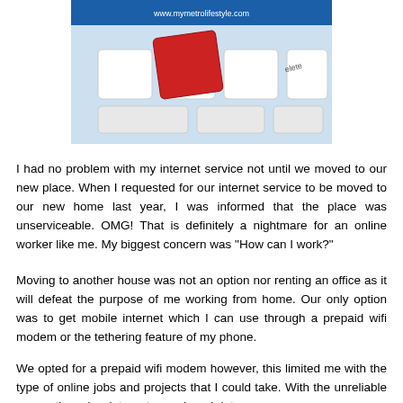[Figure (photo): Photo of a keyboard with a red delete key and white keys, with a blue banner at top showing 'www.mymetrolifestyle.com']
I had no problem with my internet service not until we moved to our new place. When I requested for our internet service to be moved to our new home last year, I was informed that the place was unserviceable. OMG! That is definitely a nightmare for an online worker like me. My biggest concern was "How can I work?"
Moving to another house was not an option nor renting an office as it will defeat the purpose of me working from home. Our only option was to get mobile internet which I can use through a prepaid wifi modem or the tethering feature of my phone.
We opted for a prepaid wifi modem however, this limited me with the type of online jobs and projects that I could take. With the unreliable connection, slow internet speed, and data